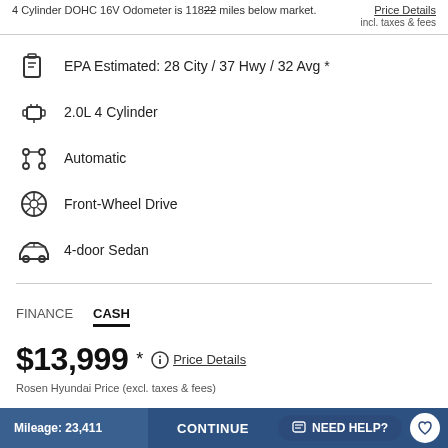4 Cylinder DOHC 16V Odometer is 11822 miles below market. Price Details incl. taxes & fees
EPA Estimated: 28 City / 37 Hwy / 32 Avg *
2.0L 4 Cylinder
Automatic
Front-Wheel Drive
4-door Sedan
FINANCE   CASH
$13,999 * Price Details
Rosen Hyundai Price (excl. taxes & fees)
Mileage: 23,411   CONTINUE   NEED HELP?